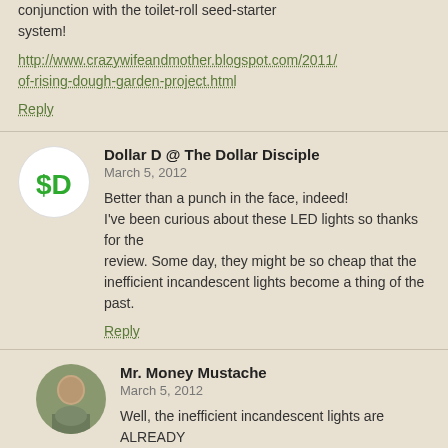conjunction with the toilet-roll seed-starter system!
http://www.crazywifeandmother.blogspot.com/2011/of-rising-dough-garden-project.html
Reply
Dollar D @ The Dollar Disciple
March 5, 2012
Better than a punch in the face, indeed!
I've been curious about these LED lights so thanks for the review. Some day, they might be so cheap that the inefficient incandescent lights become a thing of the past.
Reply
Mr. Money Mustache
March 5, 2012
Well, the inefficient incandescent lights are ALREADY a thing of the past. Nobody should have been using those in the last five years. The choice is now between halogens and CFLs.